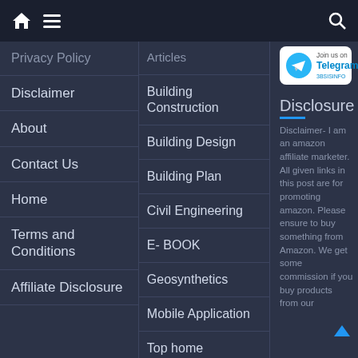Home | Menu | Search
Privacy Policy
Disclaimer
About
Contact Us
Home
Terms and Conditions
Affiliate Disclosure
Articles
Building Construction
Building Design
Building Plan
Civil Engineering
E- BOOK
Geosynthetics
Mobile Application
Top home decoration
Uncategorized
[Figure (logo): Telegram join us logo button]
Disclosure
Disclaimer- I am an amazon affiliate marketer. All given links in this post are for promoting amazon. Please ensure to buy something from Amazon. We get some commission if you buy products from our